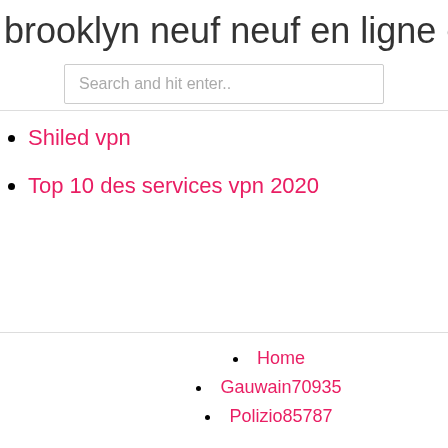brooklyn neuf neuf en ligne en stream
Search and hit enter..
Shiled vpn
Top 10 des services vpn 2020
Home
Gauwain70935
Polizio85787